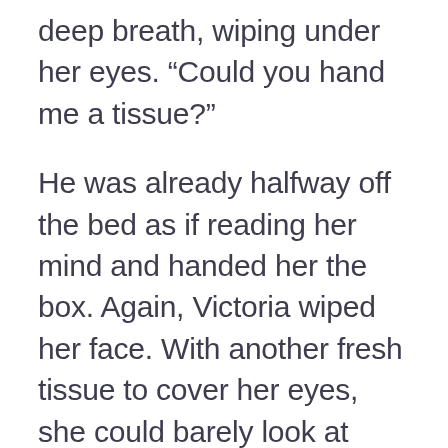deep breath, wiping under her eyes. “Could you hand me a tissue?”
He was already halfway off the bed as if reading her mind and handed her the box. Again, Victoria wiped her face. With another fresh tissue to cover her eyes, she could barely look at him.
“This can’t be what you signed up for,” Victoria mumbled. “Sorry.”